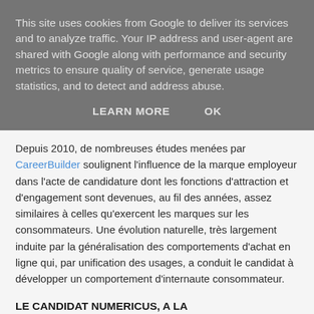This site uses cookies from Google to deliver its services and to analyze traffic. Your IP address and user-agent are shared with Google along with performance and security metrics to ensure quality of service, generate usage statistics, and to detect and address abuse.
LEARN MORE    OK
Depuis 2010, de nombreuses études menées par CareerBuilder soulignent l'influence de la marque employeur dans l'acte de candidature dont les fonctions d'attraction et d'engagement sont devenues, au fil des années, assez similaires à celles qu'exercent les marques sur les consommateurs. Une évolution naturelle, très largement induite par la généralisation des comportements d'achat en ligne qui, par unification des usages, a conduit le candidat à développer un comportement d'internaute consommateur.
LE CANDIDAT NUMERICUS, A LA RECHERCHE D'OPPORTUNITES EN TEMPS